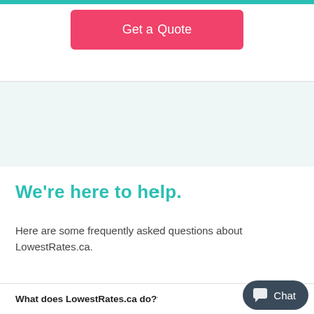[Figure (other): Pink/salmon rounded rectangle button labeled 'Get a Quote']
We're here to help.
Here are some frequently asked questions about LowestRates.ca.
What does LowestRates.ca do?
[Figure (other): Chat widget button in dark slate color with speech bubble icon and 'Chat' label]